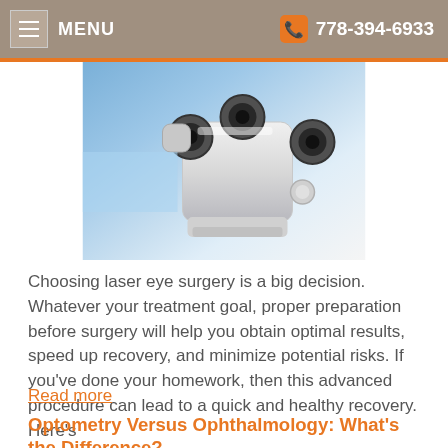MENU   778-394-6933
[Figure (photo): Close-up photo of a white medical laser/microscope surgical device with multiple eyepieces and lenses against a blue background]
Choosing laser eye surgery is a big decision. Whatever your treatment goal, proper preparation before surgery will help you obtain optimal results, speed up recovery, and minimize potential risks. If you've done your homework, then this advanced procedure can lead to a quick and healthy recovery. Here's
Read more
Optometry Versus Ophthalmology: What's the Difference?
Category: Newsletters, Medical Perspectives
[Figure (photo): Partial photo of a person's face or eye area visible at the bottom of the page]